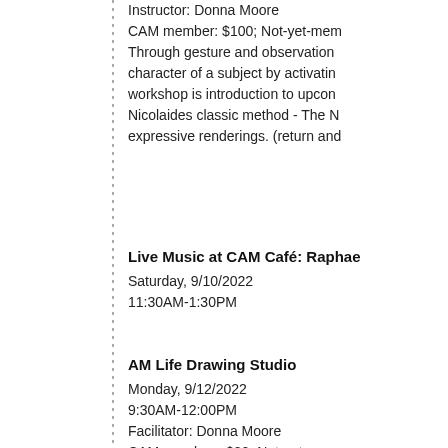Instructor: Donna Moore
CAM member: $100; Not-yet-mem
Through gesture and observation
character of a subject by activatin
workshop is introduction to upcon
Nicolaides classic method - The N
expressive renderings. (return and
Live Music at CAM Café: Raphae
Saturday, 9/10/2022
11:30AM-1:30PM
AM Life Drawing Studio
Monday, 9/12/2022
9:30AM-12:00PM
Facilitator: Donna Moore
CAM member: $20; Not-yet-mem
Work with professional nude mod
the human form - in your medium
technique and tools is suggested.
morning or evening sessions. Pur